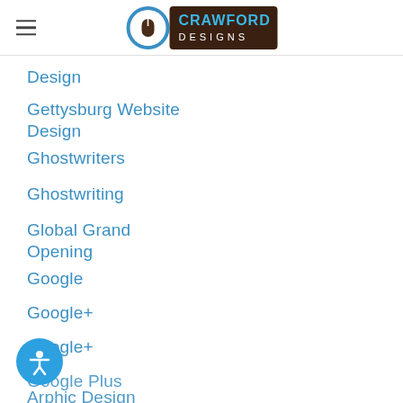Crawford Designs
Design
Gettysburg Website Design
Ghostwriters
Ghostwriting
Global Grand Opening
Google
Google+
Google+
Google Plus
Graphic Design
Graphic Designers